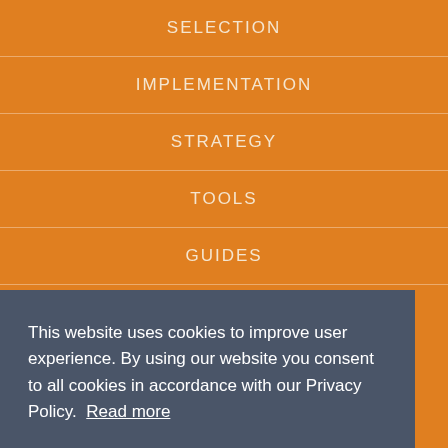SELECTION
IMPLEMENTATION
STRATEGY
TOOLS
GUIDES
This website uses cookies to improve user experience. By using our website you consent to all cookies in accordance with our Privacy Policy. Read more
Agree